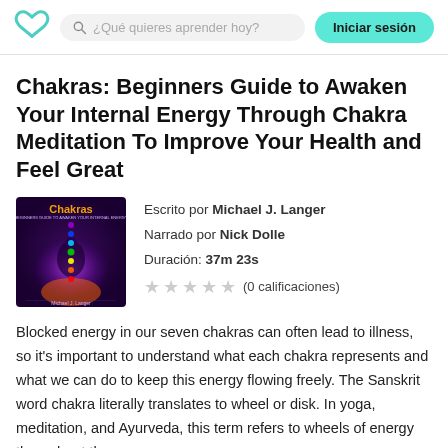¿Qué quieres aprender hoy?  Iniciar sesión
Chakras: Beginners Guide to Awaken Your Internal Energy Through Chakra Meditation To Improve Your Health and Feel Great
[Figure (illustration): Book cover for Chakras by Michael J. Langer showing a meditating figure with colorful chakra energy points on a dark background with the title 'Chakras' in golden text]
Escrito por Michael J. Langer
Narrado por Nick Dolle
Duración: 37m 23s
★★★★★ (0 calificaciones)
Blocked energy in our seven chakras can often lead to illness, so it's important to understand what each chakra represents and what we can do to keep this energy flowing freely. The Sanskrit word chakra literally translates to wheel or disk. In yoga, meditation, and Ayurveda, this term refers to wheels of energy throughout the